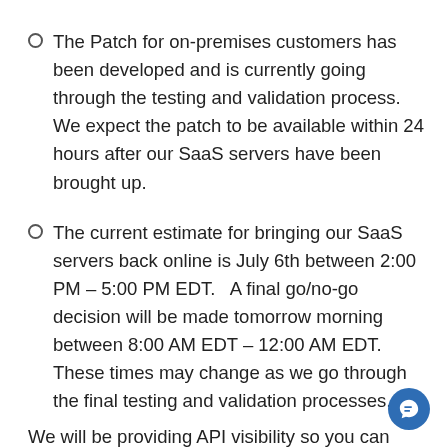The Patch for on-premises customers has been developed and is currently going through the testing and validation process.  We expect the patch to be available within 24 hours after our SaaS servers have been brought up.
The current estimate for bringing our SaaS servers back online is July 6th between 2:00 PM – 5:00 PM EDT.   A final go/no-go decision will be made tomorrow morning between 8:00 AM EDT – 12:00 AM EDT.  These times may change as we go through the final testing and validation processes.